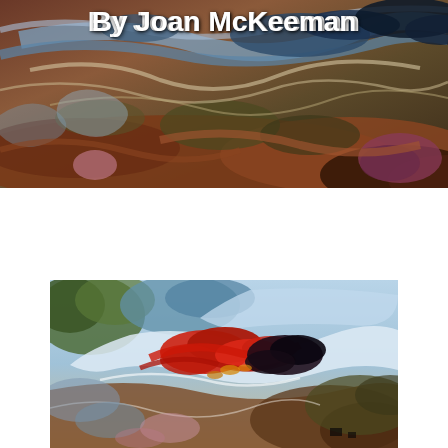[Figure (illustration): Abstract fluid acrylic painting with swirling patterns in deep blues, rust browns, olive greens, pinks, and cream/white streaks. The painting fills the full width at the top of the page.]
By Joan McKeeman
[Figure (illustration): Abstract expressionist painting featuring bold splashes of red, crimson, deep purple-black against a light blue and white background, with textured browns and greens in the lower right. Dynamic, energetic composition suggesting movement or turbulence.]